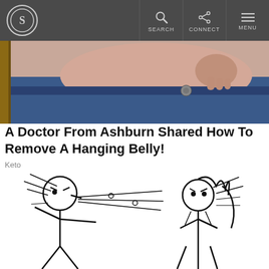S | SEARCH | CONNECT | MENU
[Figure (photo): Close-up photo of belly fat overhanging jeans waistband with button visible]
A Doctor From Ashburn Shared How To Remove A Hanging Belly!
Keto
[Figure (illustration): Stick figure cartoon of a male stick figure and a female stick figure facing each other with aggressive/angry expressions, with motion lines between them suggesting a confrontation or interaction]